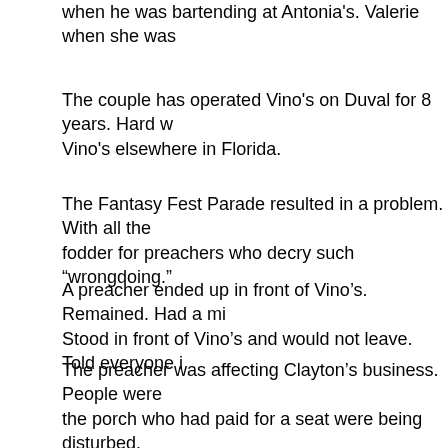when he was bartending at Antonia's. Valerie when she was
The couple has operated Vino's on Duval for 8 years. Hard w Vino's elsewhere in Florida.
The Fantasy Fest Parade resulted in a problem. With all the fodder for preachers who decry such “wrongdoing.”
A preacher ended up in front of Vino’s. Remained. Had a mi Stood in front of Vino’s and would not leave. Told everyone i
The preacher was affecting Clayton’s business. People were the porch who had paid for a seat were being disturbed.
Clayton twice asked the preacher to please stop and move o Words were exchanged. Clayton was pushed by the preach
Retaliation is wonderful. Clayton cut the wire to the microphe